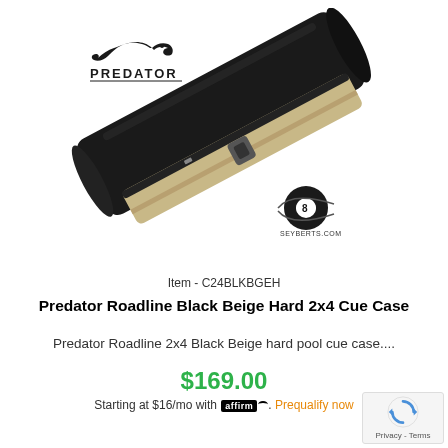[Figure (photo): Product photo of Predator Roadline Black Beige Hard 2x4 Cue Case shown diagonally, with Predator logo top left and Seyberts.com logo bottom right of image]
Item - C24BLKBGEH
Predator Roadline Black Beige Hard 2x4 Cue Case
Predator Roadline 2x4 Black Beige hard pool cue case....
$169.00
Starting at $16/mo with affirm. Prequalify now